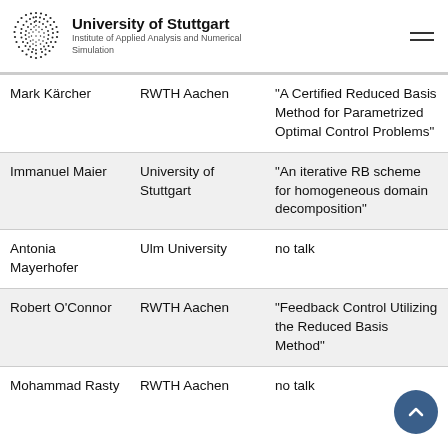University of Stuttgart — Institute of Applied Analysis and Numerical Simulation
| Mark Kärcher | RWTH Aachen | "A Certified Reduced Basis Method for Parametrized Optimal Control Problems" |
| Immanuel Maier | University of Stuttgart | "An iterative RB scheme for homogeneous domain decomposition" |
| Antonia Mayerhofer | Ulm University | no talk |
| Robert O'Connor | RWTH Aachen | "Feedback Control Utilizing the Reduced Basis Method" |
| Mohammad Rasty | RWTH Aachen | no talk |